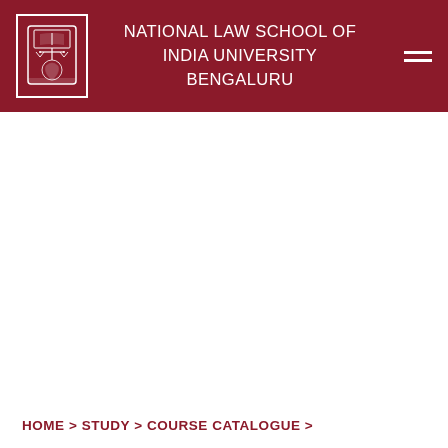NATIONAL LAW SCHOOL OF INDIA UNIVERSITY BENGALURU
[Figure (logo): NLSIU crest/shield logo in white on dark red background, showing scales of justice and other emblems]
UOG1038 | Upstream Oil and Gas Law
HOME > STUDY > COURSE CATALOGUE >